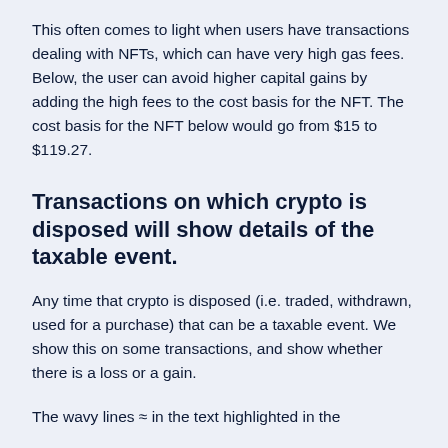This often comes to light when users have transactions dealing with NFTs, which can have very high gas fees. Below, the user can avoid higher capital gains by adding the high fees to the cost basis for the NFT. The cost basis for the NFT below would go from $15 to $119.27.
Transactions on which crypto is disposed will show details of the taxable event.
Any time that crypto is disposed (i.e. traded, withdrawn, used for a purchase) that can be a taxable event. We show this on some transactions, and show whether there is a loss or a gain.
The wavy lines ≈ in the text highlighted in the